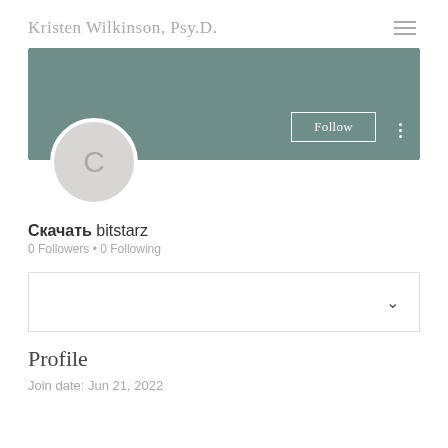Kristen Wilkinson, Psy.D.
[Figure (screenshot): User profile banner with teal/sage green background, a Follow button with white border, and a three-dot menu icon]
[Figure (illustration): Circular avatar placeholder with letter C on light gray background]
Скачать bitstarz
0 Followers • 0 Following
[Figure (screenshot): Dropdown box with chevron/arrow pointing down]
Profile
Join date: Jun 21, 2022